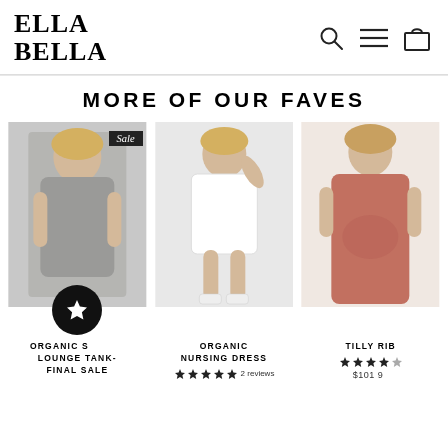ELLA BELLA
MORE OF OUR FAVES
[Figure (photo): Woman wearing gray organic lounge tank and shorts with Sale badge]
ORGANIC SCRAPE LOUNGE TANK- FINAL SALE
[Figure (photo): Woman wearing white organic nursing dress]
ORGANIC NURSING DRESS
2 reviews
[Figure (photo): Woman wearing pink tilly rib dress, partially cropped]
TILLY RIB
$101